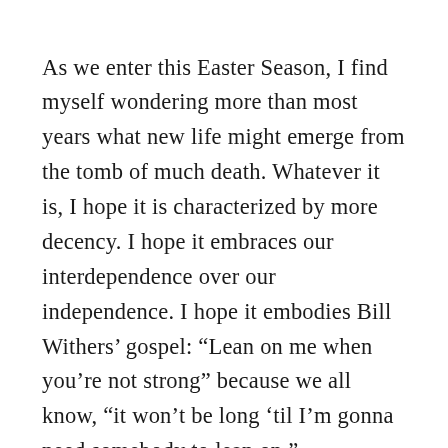As we enter this Easter Season, I find myself wondering more than most years what new life might emerge from the tomb of much death. Whatever it is, I hope it is characterized by more decency. I hope it embraces our interdependence over our independence. I hope it embodies Bill Withers’ gospel: “Lean on me when you’re not strong” because we all know, “it won’t be long ’til I’m gonna need somebody to lean on.”

I hope it is life with leaders, equal parts